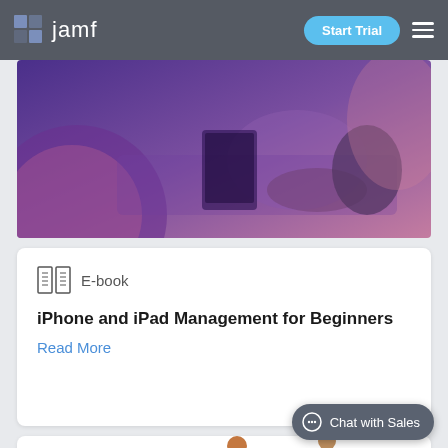jamf — Start Trial
[Figure (photo): Hero banner showing a person using a tablet/smartphone at a table, with purple and pink color overlay tones.]
E-book
iPhone and iPad Management for Beginners
Read More
[Figure (illustration): Partial illustration at the bottom of the page showing colorful cartoon figures, partially visible.]
Chat with Sales